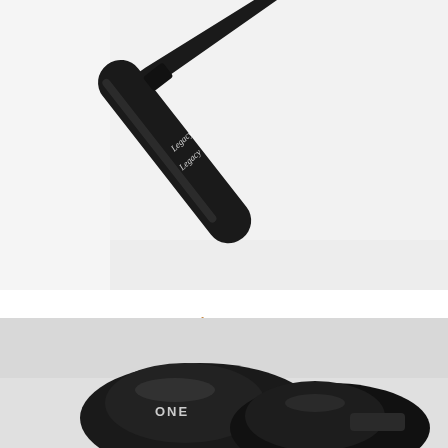[Figure (photo): Close-up photo of a black Legacy Pro Scooters lanyard with cursive 'Legacy' text embossed, against a white background]
C$9.99
LEGACY PRO SCOOTERS LANYARD
[Figure (photo): Close-up photo of black protective gear/knee pads with 'ONE' text, shown at bottom of page]